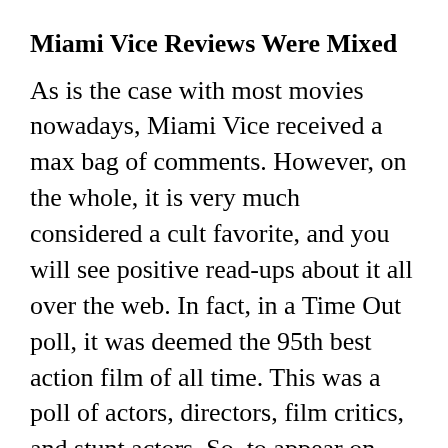Miami Vice Reviews Were Mixed
As is the case with most movies nowadays, Miami Vice received a max bag of comments. However, on the whole, it is very much considered a cult favorite, and you will see positive read-ups about it all over the web. In fact, in a Time Out poll, it was deemed the 95th best action film of all time. This was a poll of actors, directors, film critics, and stunt actors. So, to appear on this list is very high praise indeed